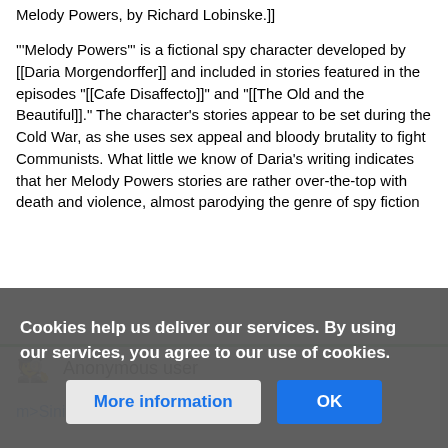Melody Powers, by Richard Lobinske.]]
'''Melody Powers''' is a fictional spy character developed by [[Daria Morgendorffer]] and included in stories featured in the episodes "[[Cafe Disaffecto]]" and "[[The Old and the Beautiful]]." The character's stories appear to be set during the Cold War, as she uses sex appeal and bloody brutality to fight Communists. What little we know of Daria's writing indicates that her Melody Powers stories are rather over-the-top with death and violence, almost parodying the genre of spy fiction
Anonymous user
m>SinisterExaggerator
Cookies help us deliver our services. By using our services, you agree to our use of cookies.